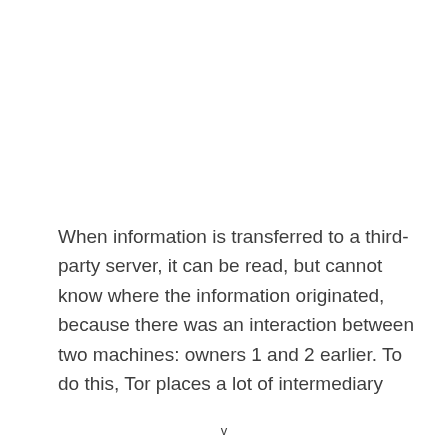When information is transferred to a third-party server, it can be read, but cannot know where the information originated, because there was an interaction between two machines: owners 1 and 2 earlier. To do this, Tor places a lot of intermediary
v